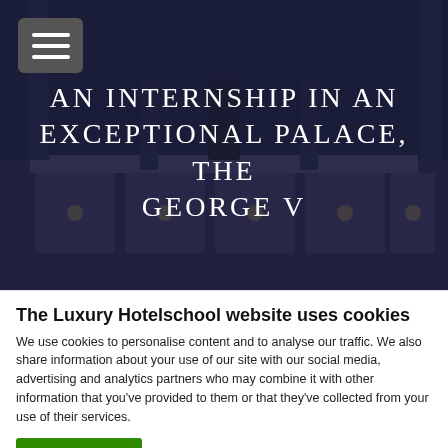[Figure (photo): Hotel reception area with marble counter and columns, overlaid with dark blue tint. A person in dark clothing stands behind the counter.]
AN INTERNSHIP IN AN EXCEPTIONAL PALACE, THE GEORGE V
The Luxury Hotelschool website uses cookies
We use cookies to personalise content and to analyse our traffic. We also share information about your use of our site with our social media, advertising and analytics partners who may combine it with other information that you've provided to them or that they've collected from your use of their services.
Accept
Show details